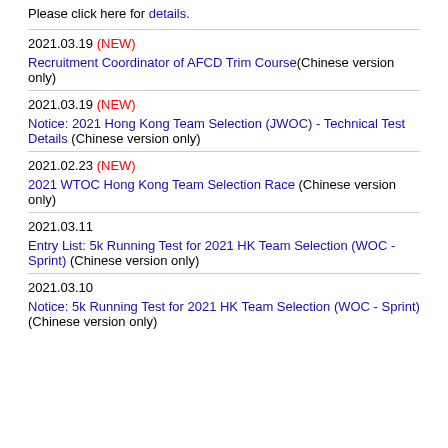Please click here for details.
2021.03.19 (NEW)
Recruitment Coordinator of AFCD Trim Course(Chinese version only)
2021.03.19 (NEW)
Notice: 2021 Hong Kong Team Selection (JWOC) - Technical Test Details (Chinese version only)
2021.02.23 (NEW)
2021 WTOC Hong Kong Team Selection Race (Chinese version only)
2021.03.11
Entry List: 5k Running Test for 2021 HK Team Selection (WOC - Sprint) (Chinese version only)
2021.03.10
Notice: 5k Running Test for 2021 HK Team Selection (WOC - Sprint) (Chinese version only)